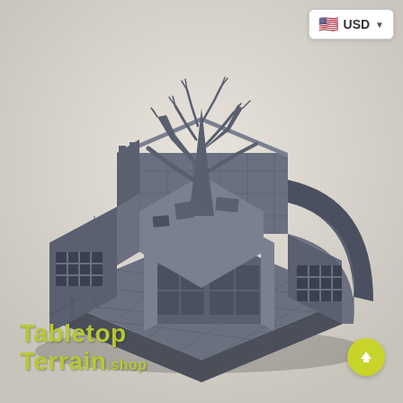[Figure (photo): 3D printed tabletop terrain miniature depicting a ruined stone courtyard with a dead twisted tree in the center, surrounded by stone walls with barred windows and a gate. The model is printed in grey filament and photographed on a white/light grey background.]
USD
Tabletop Terrain.shop